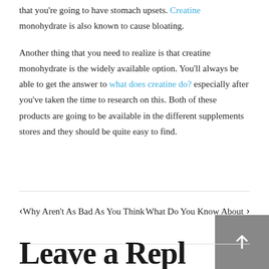that you're going to have stomach upsets. Creatine monohydrate is also known to cause bloating.
Another thing that you need to realize is that creatine monohydrate is the widely available option. You'll always be able to get the answer to what does creatine do? especially after you've taken the time to research on this. Both of these products are going to be available in the different supplements stores and they should be quite easy to find.
‹ Why Aren't As Bad As You Think    What Do You Know About ›
Leave a Reply